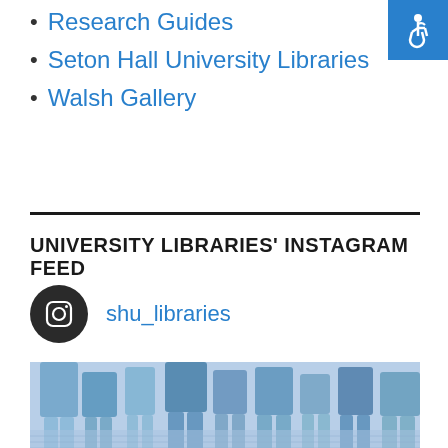Research Guides
Seton Hall University Libraries
Walsh Gallery
[Figure (logo): Accessibility icon — white wheelchair symbol on blue background]
UNIVERSITY LIBRARIES' INSTAGRAM FEED
[Figure (logo): Instagram camera icon in dark circle next to handle shu_libraries]
shu_libraries
[Figure (photo): Blue-tinted photo of people walking on a brick courtyard, showing legs and feet from approximately waist down]